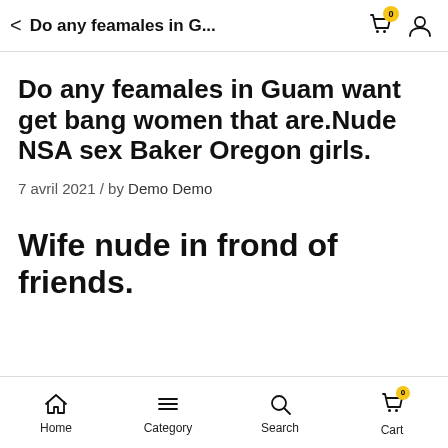Do any feamales in G...
Do any feamales in Guam want get bang women that are.Nude NSA sex Baker Oregon girls.
7 avril 2021 / by Demo Demo
Wife nude in frond of friends.
Home  Category  Search  Cart